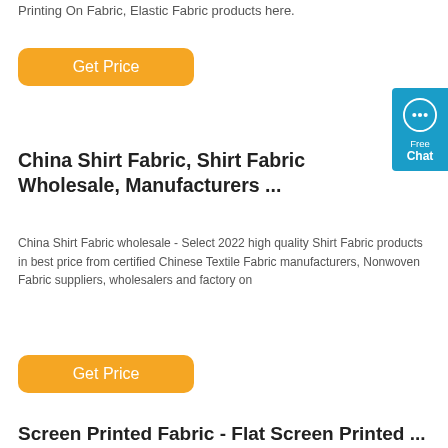Printing On Fabric, Elastic Fabric products here.
[Figure (other): Orange 'Get Price' button (first)]
[Figure (other): Blue chat widget on right side with speech bubble icon, text 'Free Chat']
China Shirt Fabric, Shirt Fabric Wholesale, Manufacturers ...
China Shirt Fabric wholesale - Select 2022 high quality Shirt Fabric products in best price from certified Chinese Textile Fabric manufacturers, Nonwoven Fabric suppliers, wholesalers and factory on
[Figure (other): Orange 'Get Price' button (second)]
Screen Printed Fabric - Flat Screen Printed ...